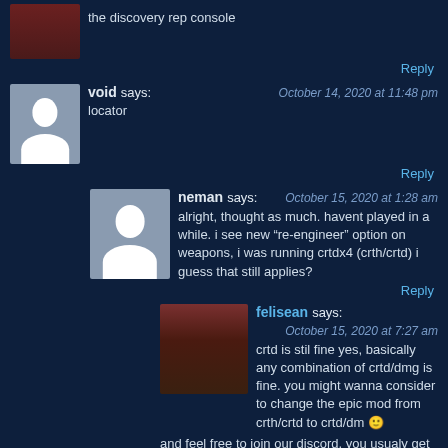the discovery rep console
Reply
void says: October 14, 2020 at 11:48 pm
locator
Reply
neman says: October 15, 2020 at 1:28 am
alright, thought as much. havent played in a while. i see new “re-engineer” option on weapons, i was running crtdx4 (crth/crtd) i guess that still applies?
Reply
felisean says: October 15, 2020 at 7:27 am
crtd is stil fine yes, basically any combination of crtd/dmg is fine. you might wanna consider to change the epic mod from crth/crtd to crtd/dm 🙂
and feel free to join our discord, you usualy get answers there faster 😉
Reply
neman says: October 15, 2020 at 8:23 pm
Thanks , but even tho i was veteran before , over 2 years of constant play, right now i just wanna play casual , it bothers me a bit that everything has “finish with zen” option, so it